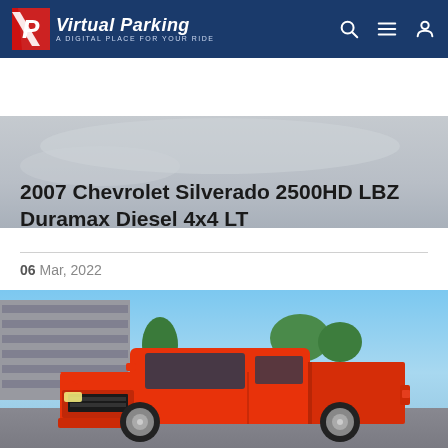Virtual Parking — A DIGITAL PLACE FOR YOUR RIDE
[Figure (photo): Top partial photo of a sky/background scene, gray sky]
2007 Chevrolet Silverado 2500HD LBZ Duramax Diesel 4x4 LT
06 Mar, 2022
[Figure (photo): Orange/red Chevrolet Silverado pickup truck parked in a lot with a multi-story parking structure and trees in the background, blue sky]